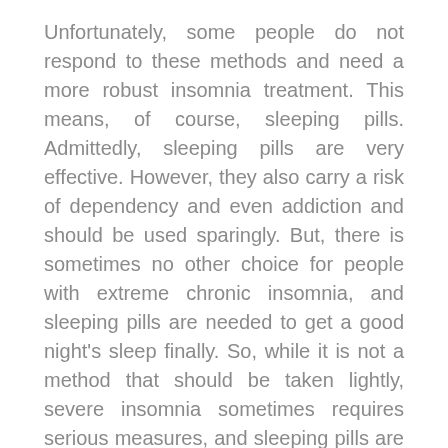Unfortunately, some people do not respond to these methods and need a more robust insomnia treatment. This means, of course, sleeping pills. Admittedly, sleeping pills are very effective. However, they also carry a risk of dependency and even addiction and should be used sparingly. But, there is sometimes no other choice for people with extreme chronic insomnia, and sleeping pills are needed to get a good night's sleep finally. So, while it is not a method that should be taken lightly, severe insomnia sometimes requires serious measures, and sleeping pills are highly effective.
Insomnia treatment is vital for people who want to get a good night's sleep again. And there are several treatment options available for people who are suffering from an inability to sleep, ranging from simple prevention methods to the use of sleeping